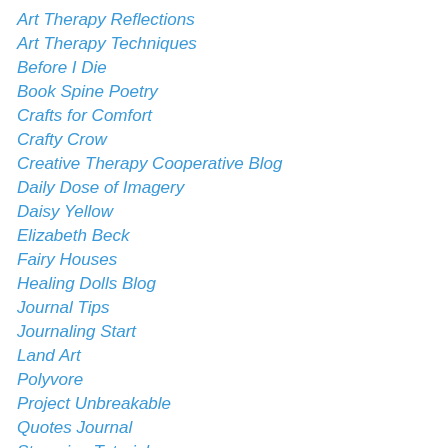Art Therapy Reflections
Art Therapy Techniques
Before I Die
Book Spine Poetry
Crafts for Comfort
Crafty Crow
Creative Therapy Cooperative Blog
Daily Dose of Imagery
Daisy Yellow
Elizabeth Beck
Fairy Houses
Healing Dolls Blog
Journal Tips
Journaling Start
Land Art
Polyvore
Project Unbreakable
Quotes Journal
Stamping Tutorials
Start An Art Journal 1